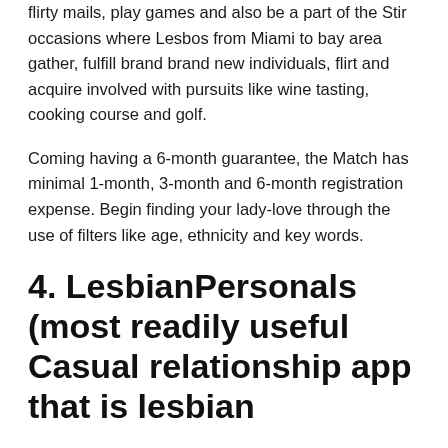flirty mails, play games and also be a part of the Stir occasions where Lesbos from Miami to bay area gather, fulfill brand brand new individuals, flirt and acquire involved with pursuits like wine tasting, cooking course and golf.
Coming having a 6-month guarantee, the Match has minimal 1-month, 3-month and 6-month registration expense. Begin finding your lady-love through the use of filters like age, ethnicity and key words.
4. LesbianPersonals (most readily useful Casual relationship app that is lesbian
If you're seeking casual relationships with lesbians from various background and choices, the LesbianPersonals is the choice